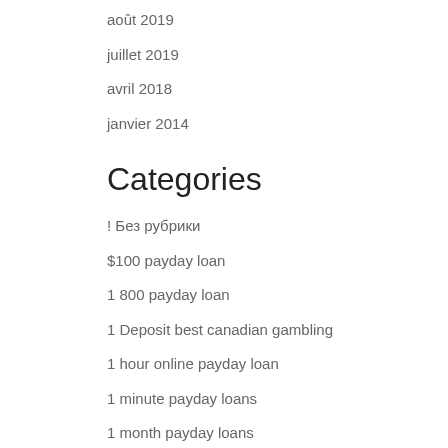août 2019
juillet 2019
avril 2018
janvier 2014
Categories
! Без рубрики
$100 payday loan
1 800 payday loan
1 Deposit best canadian gambling
1 hour online payday loan
1 minute payday loans
1 month payday loans
10
10 Deposit best canadian casino